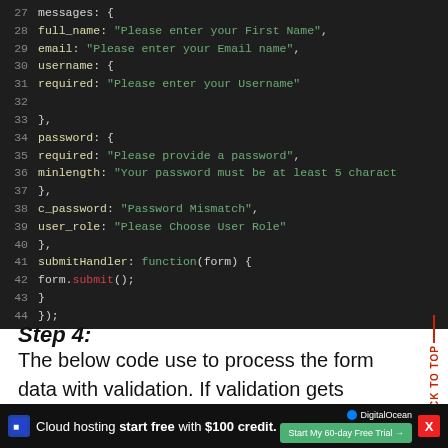[Figure (screenshot): Code snippet showing JavaScript form validation messages and submitHandler function, lines 27-44, dark theme editor]
Step 4:
The below code use to process the form data with validation. If validation gets matched means, it will submit the form data to the server for store the
[Figure (screenshot): Advertisement bar: Cloud hosting start free with $100 credit. DigitalOcean. Start My 60-day Free Trial. X close button.]